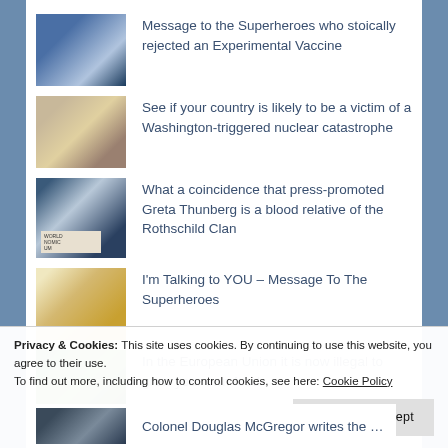Message to the Superheroes who stoically rejected an Experimental Vaccine
See if your country is likely to be a victim of a Washington-triggered nuclear catastrophe
What a coincidence that press-promoted Greta Thunberg is a blood relative of the Rothschild Clan
I'm Talking to YOU – Message To The Superheroes
In the European Union it is now illegal to grow your own food
Privacy & Cookies: This site uses cookies. By continuing to use this website, you agree to their use.
To find out more, including how to control cookies, see here: Cookie Policy
Close and accept
Colonel Douglas McGregor writes the Ukraine